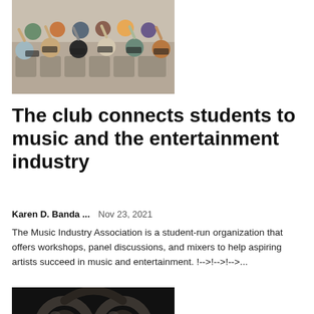[Figure (photo): Group of students in a classroom wearing masks, raising their hands and posing for a photo]
The club connects students to music and the entertainment industry
Karen D. Banda ...   Nov 23, 2021
The Music Industry Association is a student-run organization that offers workshops, panel discussions, and mixers to help aspiring artists succeed in music and entertainment. !-->!-->!-->...
[Figure (photo): Close-up of a pair of headphones and audio equipment in a dark setting]